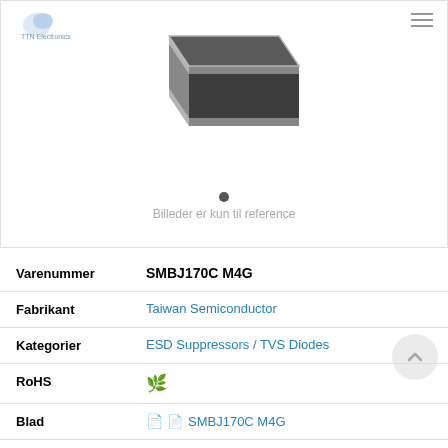[Figure (photo): Product photo of SMBJ170C M4G TVS diode component, shown as a rectangular dark grey/silver surface-mount component on a white background]
Billeder er kun til reference
| Varenummer | SMBJ170C M4G |
| Fabrikant | Taiwan Semiconductor |
| Kategorier | ESD Suppressors / TVS Diodes |
| RoHS | (leaf icon) |
| Blad | SMBJ170C M4G |
| Beskrivelse | ESD Suppressors / TVS Diodes 600W, 210V, 10%, Bidirectional, TVS |